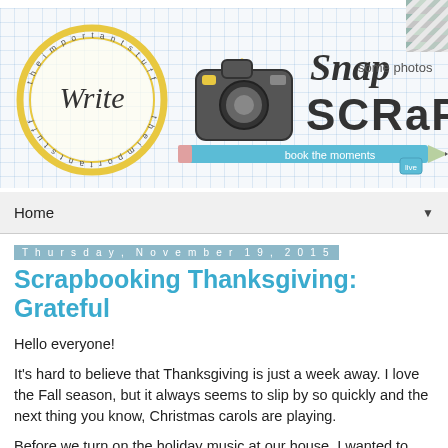[Figure (illustration): Blog header banner with grid/graph paper background. Contains a circular stamp logo with 'Write the important stuff' text and script lettering. A camera icon in the center. Text reads 'Snap some photos SCRaP book the moments' with a pencil graphic. Teal/blue and black color scheme.]
Home ▼
Thursday, November 19, 2015
Scrapbooking Thanksgiving: Grateful
Hello everyone!
It's hard to believe that Thanksgiving is just a week away. I love the Fall season, but it always seems to slip by so quickly and the next thing you know, Christmas carols are playing.
Before we turn on the holiday music at our house, I wanted to pause for a moment and honor Thanksgiving. I have so